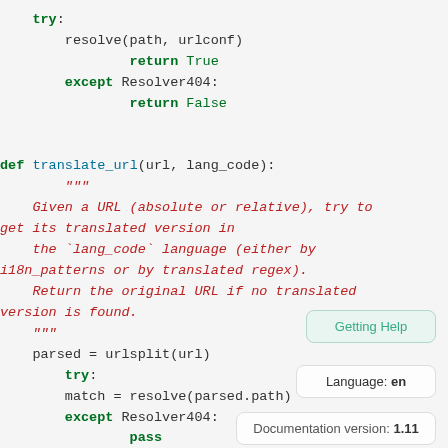Code block showing Python function: try/except block with resolve(path, urlconf), return True/False, then def translate_url(url, lang_code) with docstring and body
[Figure (screenshot): Getting Help popup button]
[Figure (screenshot): Language: en popup]
[Figure (screenshot): Documentation version: 1.11 popup]